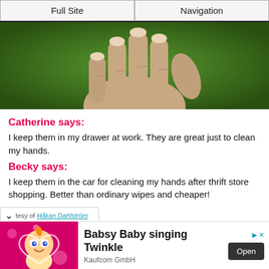Full Site | Navigation
[Figure (photo): Close-up photo of a hand with fingers spread, showing wrinkled skin over a green grassy background.]
Catherine says:
I keep them in my drawer at work. They are great just to clean my hands.
Becky says:
I keep them in the car for cleaning my hands after thrift store shopping. Better than ordinary wipes and cheaper!
tesy of Håkan Dahlström
[Figure (illustration): Advertisement for Babsy Baby singing Twinkle by Kaufcom GmbH, showing animated baby character on pink background with Open button.]